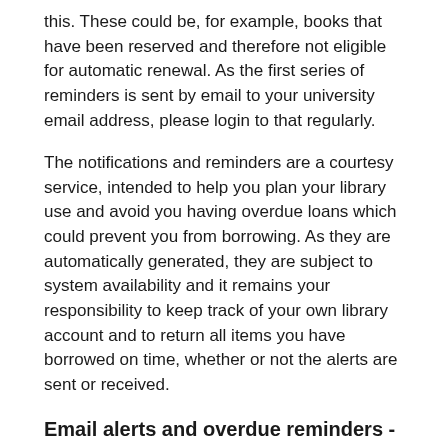this. These could be, for example, books that have been reserved and therefore not eligible for automatic renewal. As the first series of reminders is sent by email to your university email address, please login to that regularly.
The notifications and reminders are a courtesy service, intended to help you plan your library use and avoid you having overdue loans which could prevent you from borrowing. As they are automatically generated, they are subject to system availability and it remains your responsibility to keep track of your own library account and to return all items you have borrowed on time, whether or not the alerts are sent or received.
Email alerts and overdue reminders  - BU students and staff
Once your item is overdue, you will be sent a series of